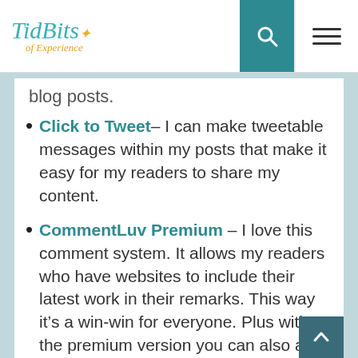[Figure (logo): TidBits of Experience blog logo with colorful dots]
blog posts.
Click to Tweet – I can make tweetable messages within my posts that make it easy for my readers to share my content.
CommentLuv Premium – I love this comment system. It allows my readers who have websites to include their latest work in their remarks. This way it's a win-win for everyone. Plus with the premium version you can also add